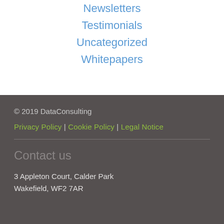Newsletters
Testimonials
Uncategorized
Whitepapers
© 2019 DataConsulting
Privacy Policy | Cookie Policy | Legal Notice
Contact us
3 Appleton Court, Calder Park
Wakefield, WF2 7AR